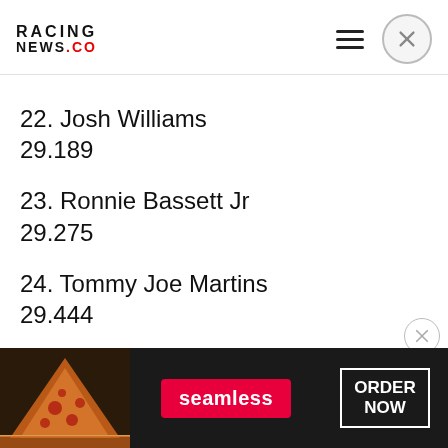RACING NEWS.CO
22. Josh Williams
29.189
23. Ronnie Bassett Jr
29.275
24. Tommy Joe Martins
29.444
25. Ray Black II
29.459
[Figure (other): Seamless food delivery advertisement banner showing pizza, Seamless logo, and ORDER NOW button]